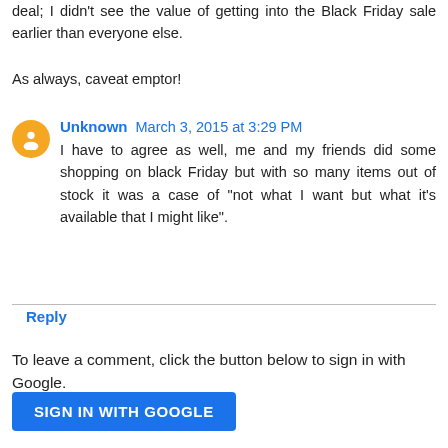deal; I didn't see the value of getting into the Black Friday sale earlier than everyone else.
As always, caveat emptor!
Unknown March 3, 2015 at 3:29 PM
I have to agree as well, me and my friends did some shopping on black Friday but with so many items out of stock it was a case of "not what I want but what it's available that I might like".
Reply
To leave a comment, click the button below to sign in with Google.
SIGN IN WITH GOOGLE